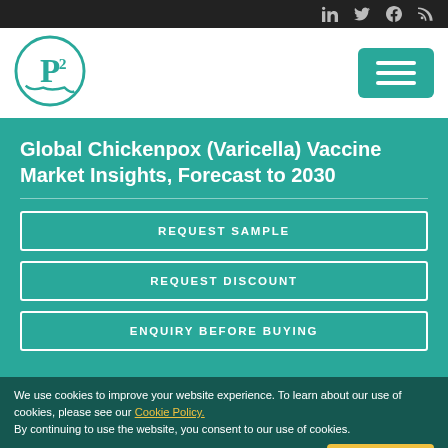Social media icons: LinkedIn, Twitter, Facebook, RSS
[Figure (logo): P2 company logo in teal circle]
Global Chickenpox (Varicella) Vaccine Market Insights, Forecast to 2030
REQUEST SAMPLE
REQUEST DISCOUNT
ENQUIRY BEFORE BUYING
We use cookies to improve your website experience. To learn about our use of cookies, please see our Cookie Policy. By continuing to use the website, you consent to our use of cookies.
I Agree!